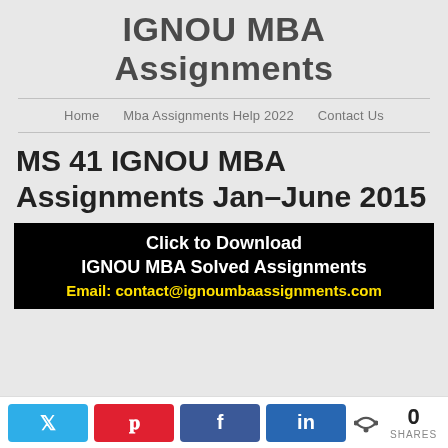IGNOU MBA Assignments
Home   Mba Assignments Help 2022   Contact Us
MS 41 IGNOU MBA Assignments Jan–June 2015
[Figure (infographic): Black banner with white bold text 'Click to Download IGNOU MBA Solved Assignments' and yellow text 'Email: contact@ignoumbaassignments.com']
0 SHARES (Twitter, Pinterest, Facebook, LinkedIn share buttons)